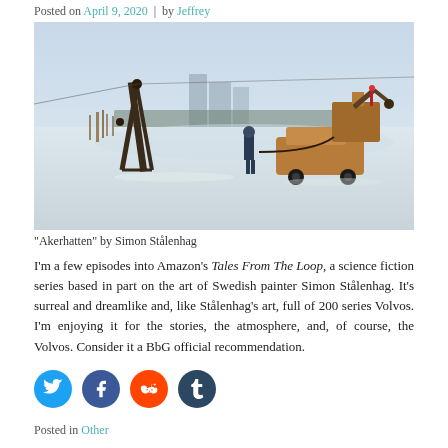Posted on April 9, 2020 | by Jeffrey
[Figure (illustration): Science fiction artwork 'Akerhatten' by Simon Stålenhag showing a person standing on a snowy field next to a vintage station wagon with robotic machinery attached, with distant industrial buildings in the misty background.]
“Akerhatten” by Simon Stålenhag
I’m a few episodes into Amazon’s Tales From The Loop, a science fiction series based in part on the art of Swedish painter Simon Stålenhag. It’s surreal and dreamlike and, like Stålenhag’s art, full of 200 series Volvos. I’m enjoying it for the stories, the atmosphere, and, of course, the Volvos. Consider it a BbG official recommendation.
[Figure (infographic): Social sharing icons: Twitter (blue), Facebook (dark blue), Reddit (orange), Tumblr (dark navy)]
Posted in Other